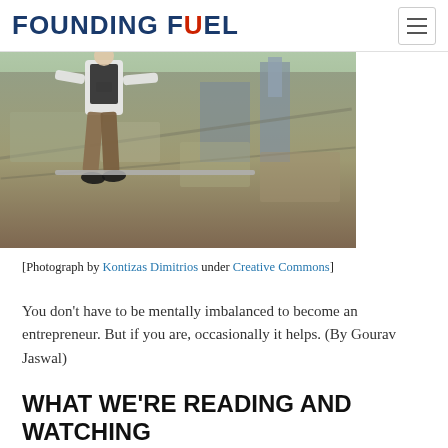FOUNDING FUEL
[Figure (photo): Aerial photograph of a person sitting on the edge of a tall building high above a city, taken from above looking down at the urban landscape below.]
[Photograph by Kontizas Dimitrios under Creative Commons]
You don't have to be mentally imbalanced to become an entrepreneur. But if you are, occasionally it helps. (By Gourav Jaswal)
WHAT WE'RE READING AND WATCHING